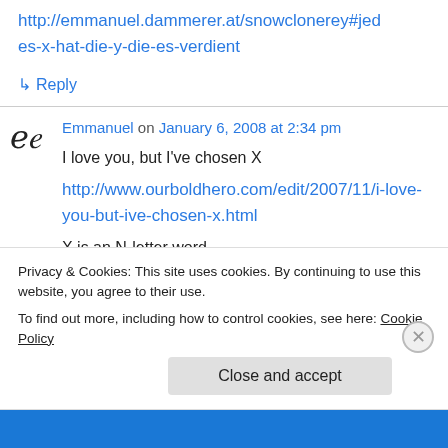http://emmanuel.dammerer.at/snowclonerey#jedes-x-hat-die-y-die-es-verdient
↳ Reply
Emmanuel on January 6, 2008 at 2:34 pm
I love you, but I've chosen X
http://www.ourboldhero.com/edit/2007/11/i-love-you-but-ive-chosen-x.html
X is an N-letter word
Privacy & Cookies: This site uses cookies. By continuing to use this website, you agree to their use.
To find out more, including how to control cookies, see here: Cookie Policy
Close and accept